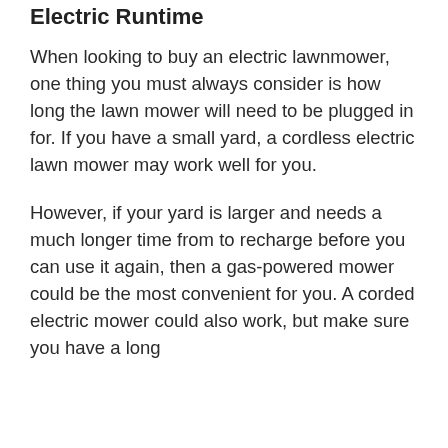Electric Runtime
When looking to buy an electric lawnmower, one thing you must always consider is how long the lawn mower will need to be plugged in for. If you have a small yard, a cordless electric lawn mower may work well for you.
However, if your yard is larger and needs a much longer time from to recharge before you can use it again, then a gas-powered mower could be the most convenient for you. A corded electric mower could also work, but make sure you have a long